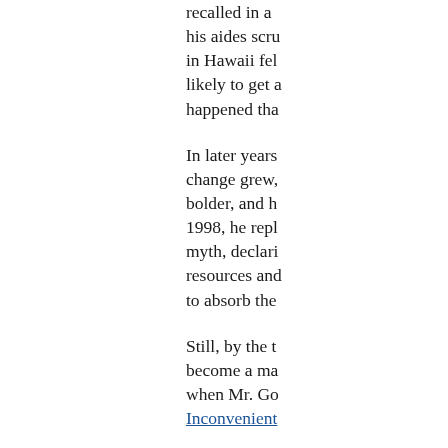recalled in a… his aides scru… in Hawaii fel… likely to get a… happened tha…
In later years… change grew,… bolder, and h… 1998, he repl… myth, declari… resources and… to absorb the…
Still, by the t… become a ma… when Mr. Go… Inconvenient…